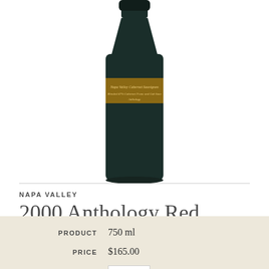[Figure (photo): Dark green wine bottle with gold and brown label reading 'Napa Valley Cabernet Sauvignon' style text, photographed against white background, showing the bottle from roughly the mid-body upward.]
NAPA VALLEY
2000 Anthology Red Blend
| Label | Value |
| --- | --- |
| PRODUCT | 750 ml |
| PRICE | $165.00 |
| QTY | 1 |